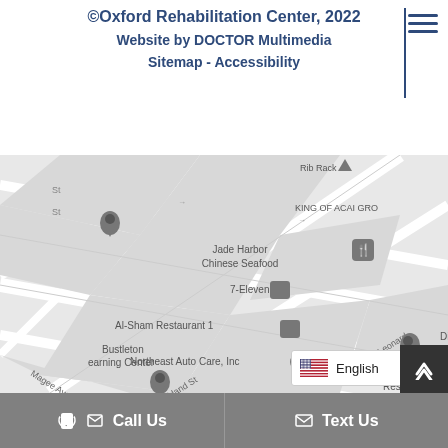©Oxford Rehabilitation Center, 2022
Website by DOCTOR Multimedia
Sitemap - Accessibility
[Figure (map): Google Maps screenshot showing a street map with landmarks including Jade Harbor Chinese Seafood, 7-Eleven, Al-Sham Restaurant 1, Northeast Auto Care Inc, Dignity & Fairness-Homeless, Bustleton Learning Center, Catholic Historical Research Center of the..., and streets including Sylvester St, Oakland St, Magee Ave, Leonard St. An English language dropdown selector overlays the top-right corner.]
Call Us
Text Us